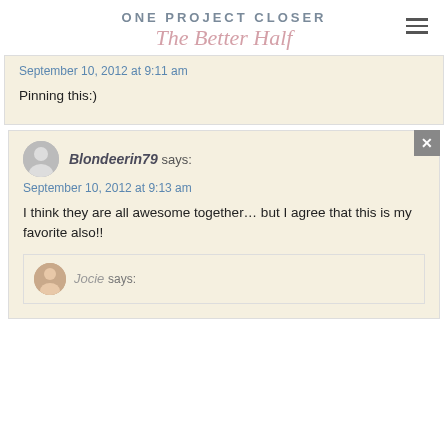ONE PROJECT CLOSER The Better Half
September 10, 2012 at 9:11 am
Pinning this:)
Blondeerin79 says:
September 10, 2012 at 9:13 am
I think they are all awesome together… but I agree that this is my favorite also!!
Jocie says: